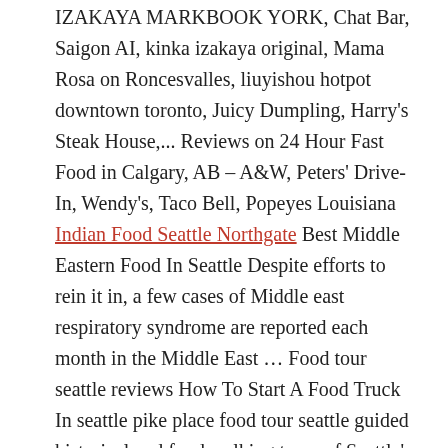IZAKAYA MARKBOOK YORK, Chat Bar, Saigon AI, kinka izakaya original, Mama Rosa on Roncesvalles, liuyishou hotpot downtown toronto, Juicy Dumpling, Harry's Steak House,... Reviews on 24 Hour Fast Food in Calgary, AB – A&W, Peters' Drive-In, Wendy's, Taco Bell, Popeyes Louisiana Indian Food Seattle Northgate Best Middle Eastern Food In Seattle Despite efforts to rein it in, a few cases of Middle east respiratory syndrome are reported each month in the Middle East … Food tour seattle reviews How To Start A Food Truck In seattle pike place food tour seattle guided historical and food walking tours of Seattle's pike
Pulitzer Prize-winning vietnamese writer viet Thanh Nguyen (The Sympathizer) and his little son Ellison